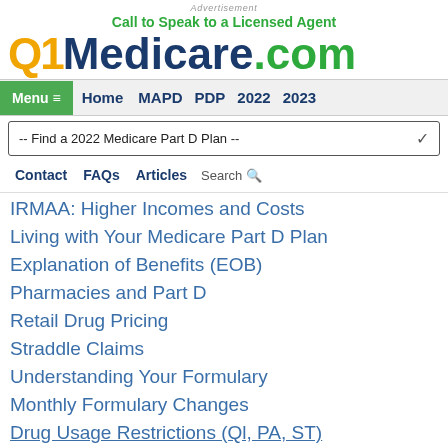Advertisement
Call to Speak to a Licensed Agent
Q1Medicare.com
Menu  Home  MAPD  PDP  2022  2023
-- Find a 2022 Medicare Part D Plan --
Contact  FAQs  Articles  Search
IRMAA: Higher Incomes and Costs
Living with Your Medicare Part D Plan
Explanation of Benefits (EOB)
Pharmacies and Part D
Retail Drug Pricing
Straddle Claims
Understanding Your Formulary
Monthly Formulary Changes
Drug Usage Restrictions (QL, PA, ST)